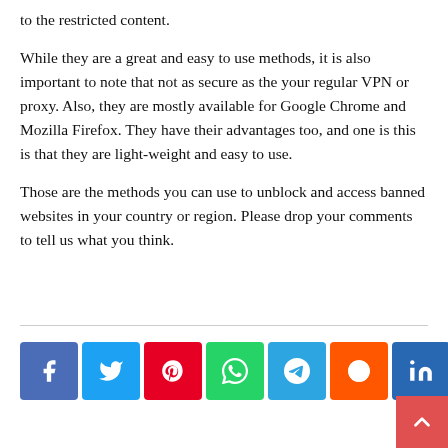to the restricted content.
While they are a great and easy to use methods, it is also important to note that not as secure as the your regular VPN or proxy. Also, they are mostly available for Google Chrome and Mozilla Firefox. They have their advantages too, and one is this is that they are light-weight and easy to use.
Those are the methods you can use to unblock and access banned websites in your country or region. Please drop your comments to tell us what you think.
[Figure (infographic): Row of social media share buttons: Facebook, Twitter, Pinterest, WhatsApp, Telegram, Reddit, LinkedIn, Email. A red scroll-to-top button appears at bottom right.]